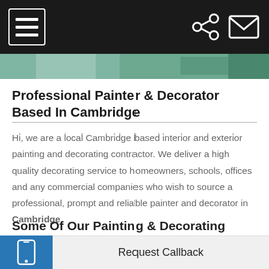Navigation bar with hamburger menu, share icon, and mail icon
[Figure (photo): Partial image strip showing green/teal decorating scene]
Professional Painter & Decorator Based In Cambridge
Hi, we are a local Cambridge based interior and exterior painting and decorating contractor. We deliver a high quality decorating service to homeowners, schools, offices and any commercial companies who wish to source a professional, prompt and reliable painter and decorator in Cambridge.
Some Of Our Painting & Decorating
Request Callback